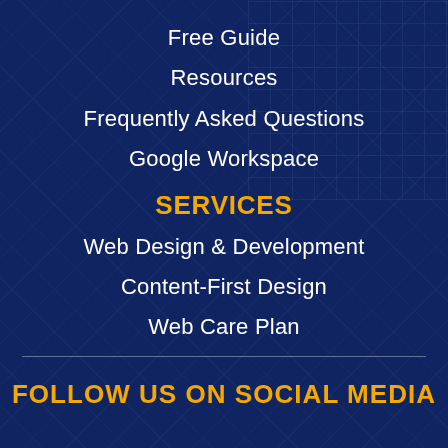Free Guide
Resources
Frequently Asked Questions
Google Workspace
SERVICES
Web Design & Development
Content-First Design
Web Care Plan
FOLLOW US ON SOCIAL MEDIA